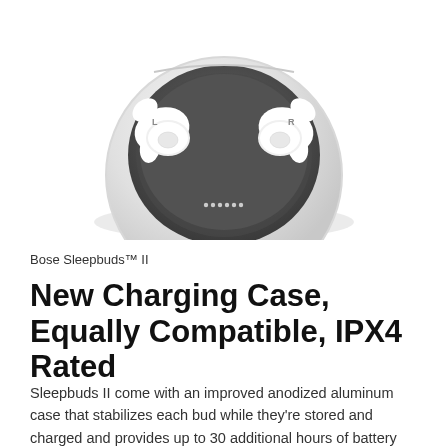[Figure (photo): Bose Sleepbuds II white earbuds in an open round anodized aluminum charging case, viewed from above on a white background. The round case has a silver/white metallic exterior and dark grey interior holding two white earbuds labeled L and R.]
Bose Sleepbuds™ II
New Charging Case, Equally Compatible, IPX4 Rated
Sleepbuds II come with an improved anodized aluminum case that stabilizes each bud while they're stored and charged and provides up to 30 additional hours of battery